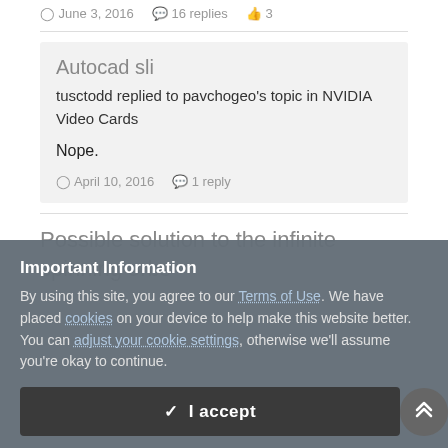June 3, 2016   16 replies   3
Autocad sli
tusctodd replied to pavchogeo's topic in NVIDIA Video Cards
Nope.
April 10, 2016   1 reply
Possible solution to the infinite spinning orbs
Important Information
By using this site, you agree to our Terms of Use. We have placed cookies on your device to help make this website better. You can adjust your cookie settings, otherwise we'll assume you're okay to continue.
I accept